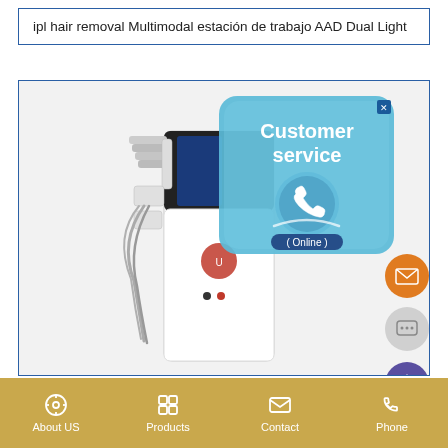ipl hair removal Multimodal estación de trabajo AAD Dual Light
[Figure (photo): IPL hair removal multimodal workstation machine (white and black tower unit with attachments and cables) with a Customer Service Online popup overlay in the top right area, and three circular side buttons (email, chat, scroll-up) on the right edge.]
About US   Products   Contact   Phone